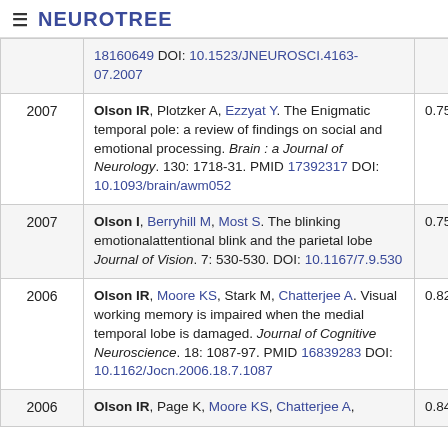NEUROTREE
| Year | Reference | Score |
| --- | --- | --- |
|  | 18160649 DOI: 10.1523/JNEUROSCI.4163-07.2007 |  |
| 2007 | Olson IR, Plotzker A, Ezzyat Y. The Enigmatic temporal pole: a review of findings on social and emotional processing. Brain : a Journal of Neurology. 130: 1718-31. PMID 17392317 DOI: 10.1093/brain/awm052 | 0.755 |
| 2007 | Olson I, Berryhill M, Most S. The blinking emotionalattentional blink and the parietal lobe Journal of Vision. 7: 530-530. DOI: 10.1167/7.9.530 | 0.756 |
| 2006 | Olson IR, Moore KS, Stark M, Chatterjee A. Visual working memory is impaired when the medial temporal lobe is damaged. Journal of Cognitive Neuroscience. 18: 1087-97. PMID 16839283 DOI: 10.1162/Jocn.2006.18.7.1087 | 0.821 |
| 2006 | Olson IR, Page K, Moore KS, Chatterjee A, | 0.848 |